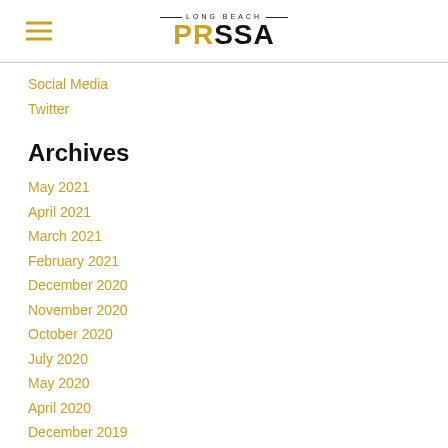LONG BEACH PRSSA
Social Media
Twitter
Archives
May 2021
April 2021
March 2021
February 2021
December 2020
November 2020
October 2020
July 2020
May 2020
April 2020
December 2019
November 2019
October 2019